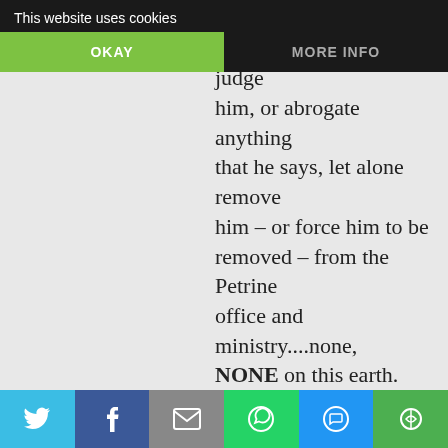This website uses cookies
OKAY
MORE INFO
this earth, anywhere and from anyone, that can judge him, or abrogate anything that he says, let alone remove him – or force him to be removed – from the Petrine office and ministry....none, NONE on this earth.
–
He is PETER, his authority is absolute, immediate and supreme, and we must, if we are to survive and maintain Faith in this world...
[Figure (screenshot): Social share bar at bottom with Twitter, Facebook, Email, WhatsApp, SMS, and More buttons]